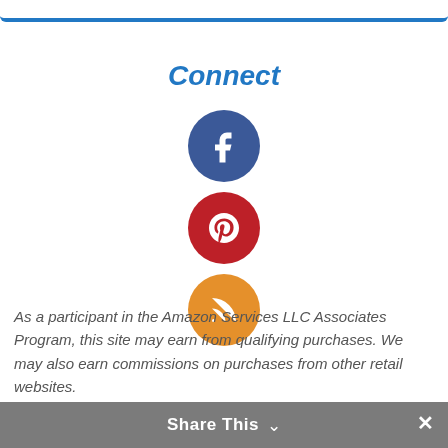[Figure (illustration): Top blue horizontal bar/border element]
Connect
[Figure (illustration): Facebook circular icon - dark blue circle with white letter f]
[Figure (illustration): Pinterest circular icon - red circle with white letter p]
[Figure (illustration): RSS circular icon - orange circle with white RSS signal symbol]
As a participant in the Amazon Services LLC Associates Program, this site may earn from qualifying purchases. We may also earn commissions on purchases from other retail websites.
Share This ∨  ×